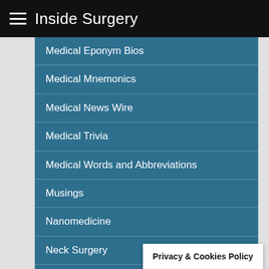Inside Surgery
Medical Eponym Bios
Medical Mnemonics
Medical News Wire
Medical Trivia
Medical Words and Abbreviations
Musings
Nanomedicine
Neck Surgery
Neurology
Nutrition
ObGyn Surgery
Oncology
Privacy & Cookies Policy